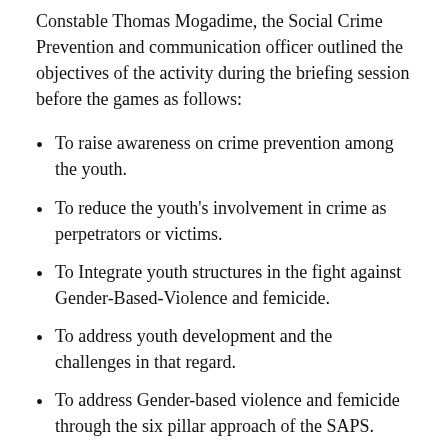Constable Thomas Mogadime, the Social Crime Prevention and communication officer outlined the objectives of the activity during the briefing session before the games as follows:
To raise awareness on crime prevention among the youth.
To reduce the youth's involvement in crime as perpetrators or victims.
To Integrate youth structures in the fight against Gender-Based-Violence and femicide.
To address youth development and the challenges in that regard.
To address Gender-based violence and femicide through the six pillar approach of the SAPS.